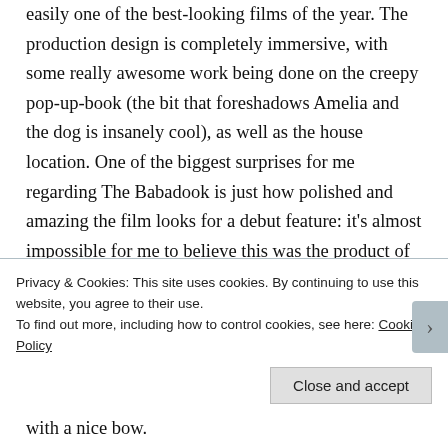easily one of the best-looking films of the year. The production design is completely immersive, with some really awesome work being done on the creepy pop-up-book (the bit that foreshadows Amelia and the dog is insanely cool), as well as the house location. One of the biggest surprises for me regarding The Babadook is just how polished and amazing the film looks for a debut feature: it's almost impossible for me to believe this was the product of a first-time filmmaker. I daresay that the finale, which manages to combine Time Bandits (1981), In the Mouth of Madness (1994) and A Nightmare on Elm Street (1984), may be one of my favorites of the year, even as it manages to wrap up the film's themes with a nice bow.
Privacy & Cookies: This site uses cookies. By continuing to use this website, you agree to their use.
To find out more, including how to control cookies, see here: Cookie Policy
Close and accept